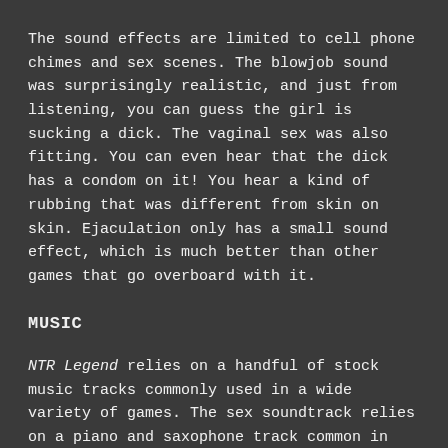The sound effects are limited to cell phone chimes and sex scenes. The blowjob sound was surprisingly realistic, and just from listening, you can guess the girl is sucking a dick. The vaginal sex was also fitting. You can even hear that the dick has a condom on it! You hear a kind of rubbing that was different from skin on skin. Ejaculation only has a small sound effect, which is much better than other games that go overboard with it.
MUSIC
NTR Legend relies on a handful of stock music tracks commonly used in a wide variety of games. The sex soundtrack relies on a piano and saxophone track common in many other games like the Prostitute of Magmell. Outside of sex, a digitally synthesized